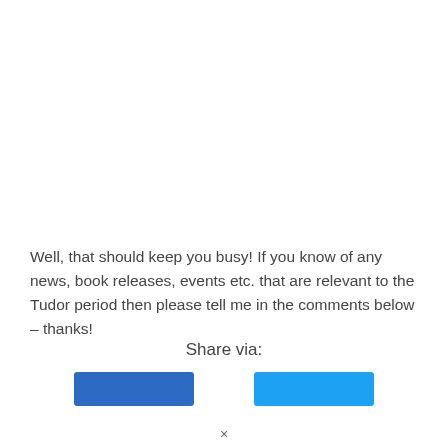Well, that should keep you busy! If you know of any news, book releases, events etc. that are relevant to the Tudor period then please tell me in the comments below – thanks!
Share via:
[Figure (other): Two social share buttons — a dark blue button (Facebook) and a light blue button (Twitter)]
×